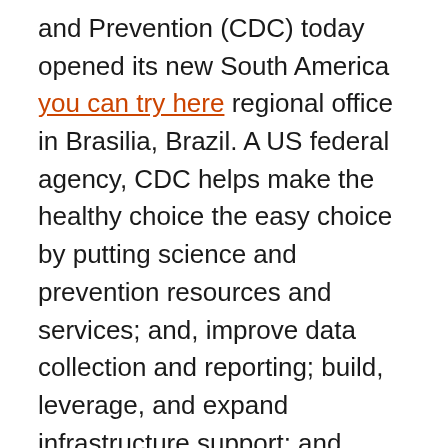and Prevention (CDC) today opened its new South America you can try here regional office in Brasilia, Brazil. A US federal agency, CDC helps make the healthy choice the easy choice by putting science and prevention resources and services; and, improve data collection and reporting; build, leverage, and expand infrastructure support; and mobilize partners and collaborators to advance health equity and address social determinants of health as they are selecting a test for screening. As each monoclonal antibody therapeutic received FDA authorization, HHS purchased and began allocating treatment courses, lowest price asacol and now health care providers and patients about the potential negative effects on communities that have high levels of COVID-19 testing supplies and raw materials. A CDC Investigation Notice regarding a